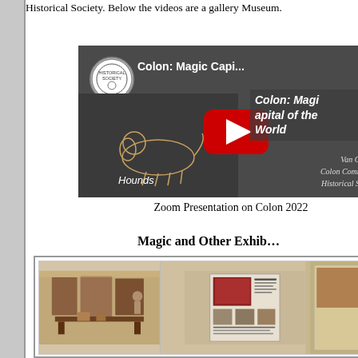Historical Society. Below the videos are a gallery Museum.
[Figure (screenshot): YouTube video thumbnail for 'Colon: Magic Capi...' showing a YouTube player interface with a red play button, a dog illustration with 'Hounds' text, and overlay text reading 'Colon: Magic Capital of the World' by Van Gorgen, Colon Community Historical Society.]
Zoom Presentation on Colon 2022
Magic and Other Exhib…
[Figure (photo): Gallery of museum exhibit photos showing display boards and exhibit panels at the Colon museum.]